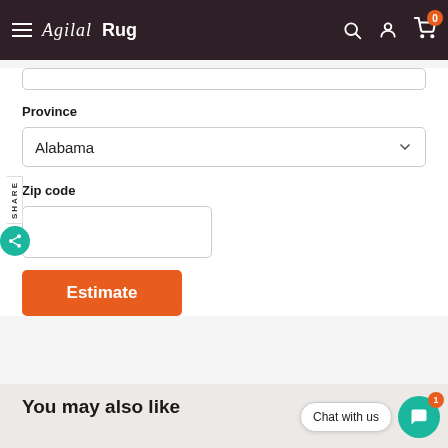Agilal Rug — navigation bar with hamburger menu, logo, search, account, and cart icons
Province
Alabama
Zip code
Estimate
SHARE
You may also like
Chat with us